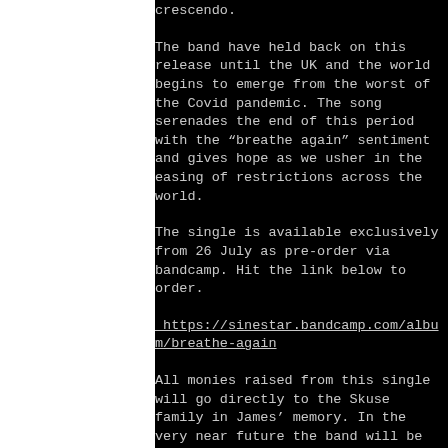crescendo.
The band have held back on this release until the UK and the world begins to emerge from the worst of the Covid pandemic. The song serenades the end of this period with the “breathe again” sentiment and gives hope as we usher in the easing of restrictions across the world.
The single is available exclusively from 26 July as pre-order via bandcamp. Hit the link below to order.
https://sinestar.bandcamp.com/album/breathe-again
All monies raised from this single will go directly to the Skuse family in James’ memory. In the very near future the band will be releasing...